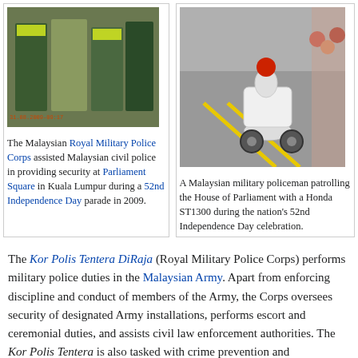[Figure (photo): Photo of Malaysian Royal Military Police Corps members in uniform at Parliament Square]
The Malaysian Royal Military Police Corps assisted Malaysian civil police in providing security at Parliament Square in Kuala Lumpur during a 52nd Independence Day parade in 2009.
[Figure (photo): Photo of a Malaysian military policeman on a Honda ST1300 motorcycle patrolling the House of Parliament]
A Malaysian military policeman patrolling the House of Parliament with a Honda ST1300 during the nation's 52nd Independence Day celebration.
The Kor Polis Tentera DiRaja (Royal Military Police Corps) performs military police duties in the Malaysian Army. Apart from enforcing discipline and conduct of members of the Army, the Corps oversees security of designated Army installations, performs escort and ceremonial duties, and assists civil law enforcement authorities. The Kor Polis Tentera is also tasked with crime prevention and investigating criminal activities on Army property or by military personnel. With its roots in the British Royal Military Police, a predecessor of the Kor Polis Tentera...